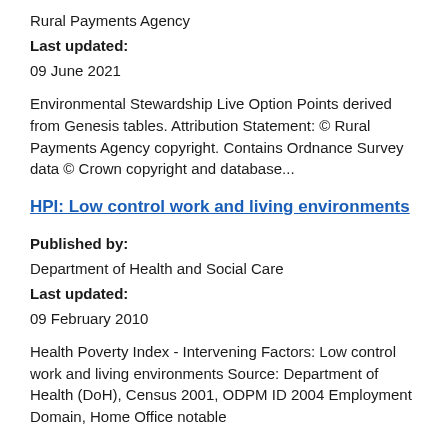Rural Payments Agency
Last updated:
09 June 2021
Environmental Stewardship Live Option Points derived from Genesis tables. Attribution Statement: © Rural Payments Agency copyright. Contains Ordnance Survey data © Crown copyright and database...
HPI: Low control work and living environments
Published by:
Department of Health and Social Care
Last updated:
09 February 2010
Health Poverty Index - Intervening Factors: Low control work and living environments Source: Department of Health (DoH), Census 2001, ODPM ID 2004 Employment Domain, Home Office notable